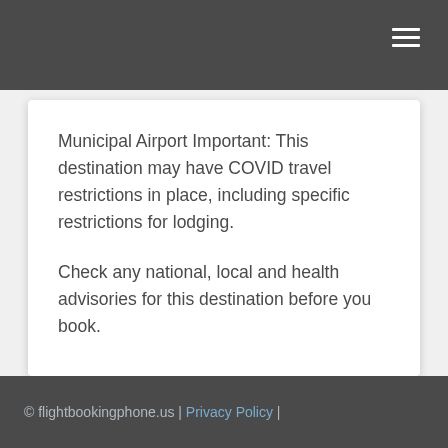Municipal Airport Important: This destination may have COVID travel restrictions in place, including specific restrictions for lodging.

Check any national, local and health advisories for this destination before you book.
© flightbookingphone.us | Privacy Policy |